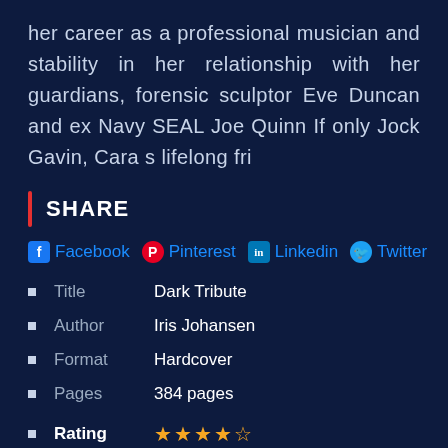her career as a professional musician and stability in her relationship with her guardians, forensic sculptor Eve Duncan and ex Navy SEAL Joe Quinn If only Jock Gavin, Cara s lifelong fri
SHARE
Facebook Pinterest Linkedin Twitter
Title   Dark Tribute
Author  Iris Johansen
Format  Hardcover
Pages   384 pages
Rating  4.5 stars
Audio Book